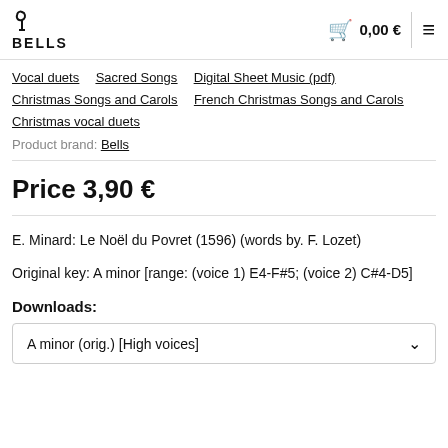BELLS  0,00 €
Vocal duets
Sacred Songs
Digital Sheet Music (pdf)
Christmas Songs and Carols
French Christmas Songs and Carols
Christmas vocal duets
Product brand: Bells
Price 3,90 €
E. Minard: Le Noël du Povret (1596) (words by. F. Lozet)
Original key: A minor [range: (voice 1) E4-F#5; (voice 2) C#4-D5]
Downloads:
A minor (orig.) [High voices]